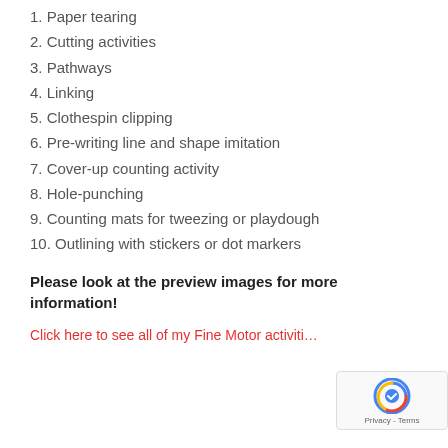1. Paper tearing
2. Cutting activities
3. Pathways
4. Linking
5. Clothespin clipping
6. Pre-writing line and shape imitation
7. Cover-up counting activity
8. Hole-punching
9. Counting mats for tweezing or playdough
10. Outlining with stickers or dot markers
Please look at the preview images for more information!
Click here to see all of my Fine Motor activiti...